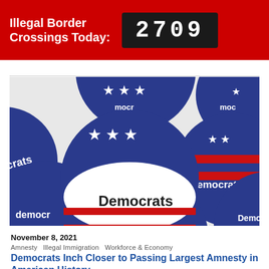Illegal Border Crossings Today: 2709
[Figure (photo): A pile of red, white, and blue circular 'Democrats' campaign buttons featuring stars and stripes]
November 8, 2021
Amnesty   Illegal Immigration   Workforce & Economy
Democrats Inch Closer to Passing Largest Amnesty in American History